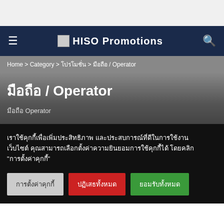HISO Promotions
Home > Category > โปรโมชั่น > มือถือ / Operator
มือถือ / Operator
มือถือ Operator
เราใช้คุกกี้เพื่อเพิ่มประสิทธิภาพ และประสบการณ์ที่ดีในการใช้งานเว็บไซต์ คุณสามารถเลือกตั้งค่าความยินยอมการใช้คุกกี้ได้ โดยคลิก "การตั้งค่าคุกกี้"
การตั้งค่าคุกกี้
ปฏิเสธทั้งหมด
ยอมรับทั้งหมด